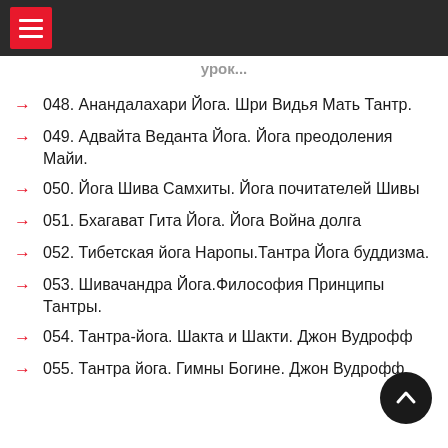048. Анандалахари Йога. Шри Видья Мать Тантр.
049. Адвайта Веданта Йога. Йога преодоления Майи.
050. Йога Шива Самхиты. Йога почитателей Шивы
051. Бхагават Гита Йога. Йога Война долга
052. Тибетская йога Наропы.Тантра Йога буддизма.
053. Шивачандра Йога.Философия Принципы Тантры.
054. Тантра-йога. Шакта и Шакти. Джон Вудрофф
055. Тантра йога. Гимны Богине. Джон Вудрофф